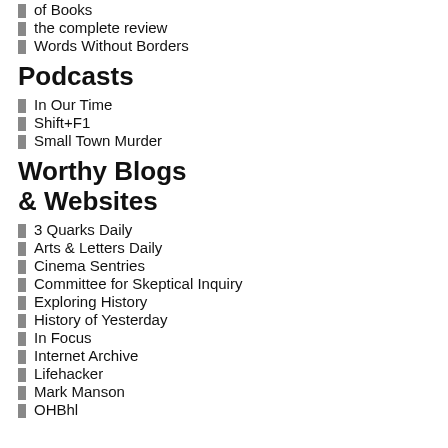of Books
the complete review
Words Without Borders
Podcasts
In Our Time
Shift+F1
Small Town Murder
Worthy Blogs & Websites
3 Quarks Daily
Arts & Letters Daily
Cinema Sentries
Committee for Skeptical Inquiry
Exploring History
History of Yesterday
In Focus
Internet Archive
Lifehacker
Mark Manson
OHBhl...
[Figure (illustration): Dark blue book cover at top]
[Figure (illustration): Reading can seriously damage your ignorance quote on golden background with tree]
[Figure (illustration): Banned Books Week FORBIDDEN poster with red letters on book pages]
[Figure (illustration): Partial C T M text visible at bottom right]